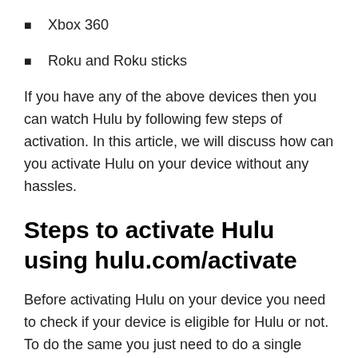Xbox 360
Roku and Roku sticks
If you have any of the above devices then you can watch Hulu by following few steps of activation. In this article, we will discuss how can you activate Hulu on your device without any hassles.
Steps to activate Hulu using hulu.com/activate
Before activating Hulu on your device you need to check if your device is eligible for Hulu or not. To do the same you just need to do a single step. Just open the app store or play store then find Hulu and try to install it. If you will be able to install the application then you can check the rest